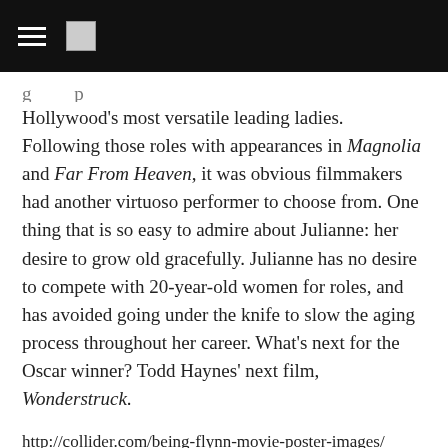[navigation bar with hamburger menu and icon]
Hollywood's most versatile leading ladies. Following those roles with appearances in Magnolia and Far From Heaven, it was obvious filmmakers had another virtuoso performer to choose from. One thing that is so easy to admire about Julianne: her desire to grow old gracefully. Julianne has no desire to compete with 20-year-old women for roles, and has avoided going under the knife to slow the aging process throughout her career. What's next for the Oscar winner? Todd Haynes' next film, Wonderstruck.
http://collider.com/being-flynn-movie-poster-images/
Source: Collider.com